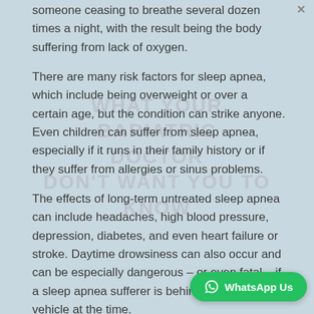someone ceasing to breathe several dozen times a night, with the result being the body suffering from lack of oxygen.
There are many risk factors for sleep apnea, which include being overweight or over a certain age, but the condition can strike anyone. Even children can suffer from sleep apnea, especially if it runs in their family history or if they suffer from allergies or sinus problems.
The effects of long-term untreated sleep apnea can include headaches, high blood pressure, depression, diabetes, and even heart failure or stroke. Daytime drowsiness can also occur and can be especially dangerous – or even fatal – if a sleep apnea sufferer is behind the wheel of a vehicle at the time.
Thankfully, there are several effective treatments for sleep apnea. Many of these treatments in... of sleep...